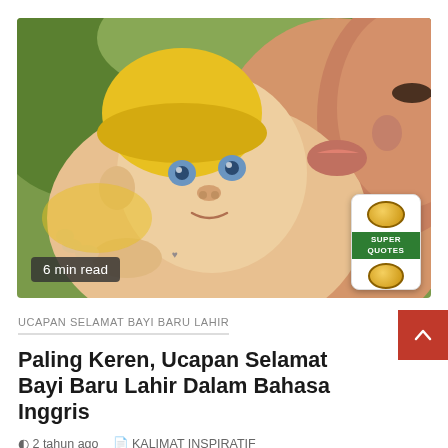[Figure (photo): A baby wearing a yellow hat being kissed on the cheek by a woman, close-up photo. A smartphone app badge (Super Quotes) is visible in the bottom-right corner. A '6 min read' badge is shown in the bottom-left.]
UCAPAN SELAMAT BAYI BARU LAHIR
Paling Keren, Ucapan Selamat Bayi Baru Lahir Dalam Bahasa Inggris
2 tahun ago   KALIMAT INSPIRATIF